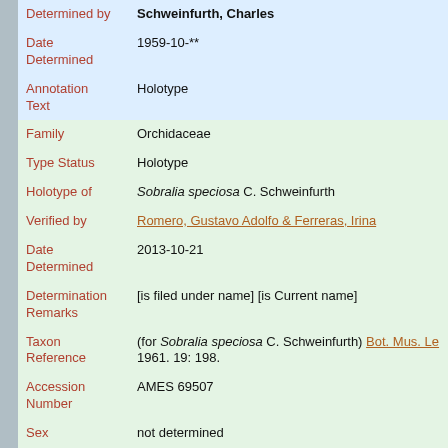| Field | Value |
| --- | --- |
| Determined by | Schweinfurth, Charles |
| Date Determined | 1959-10-** |
| Annotation Text | Holotype |
| Family | Orchidaceae |
| Type Status | Holotype |
| Holotype of | Sobralia speciosa C. Schweinfurth |
| Verified by | Romero, Gustavo Adolfo & Ferreras, Irina |
| Date Determined | 2013-10-21 |
| Determination Remarks | [is filed under name] [is Current name] |
| Taxon Reference | (for Sobralia speciosa C. Schweinfurth) Bot. Mus. Le 1961. 19: 198. |
| Accession Number | AMES 69507 |
| Sex | not determined |
| Phenology | Flower |
| Preparation Type | Sheet |
| Preparation Method | Pressed |